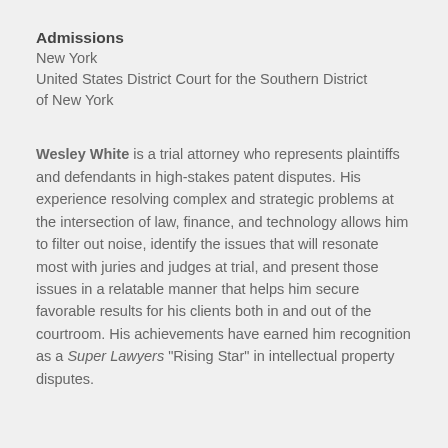Admissions
New York
United States District Court for the Southern District of New York
Wesley White is a trial attorney who represents plaintiffs and defendants in high-stakes patent disputes. His experience resolving complex and strategic problems at the intersection of law, finance, and technology allows him to filter out noise, identify the issues that will resonate most with juries and judges at trial, and present those issues in a relatable manner that helps him secure favorable results for his clients both in and out of the courtroom. His achievements have earned him recognition as a Super Lawyers “Rising Star” in intellectual property disputes.